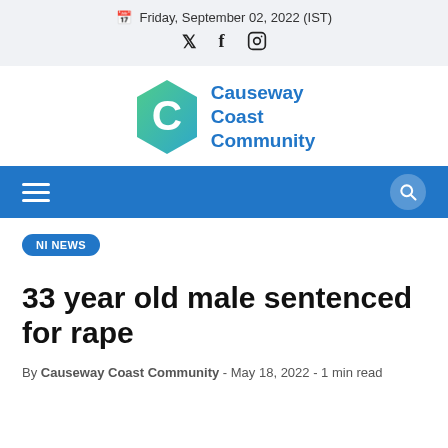Friday, September 02, 2022 (IST)
[Figure (logo): Causeway Coast Community hexagon logo with gradient green-to-teal C icon and blue text reading Causeway Coast Community]
[Figure (screenshot): Blue navigation bar with hamburger menu icon on left and search icon on right]
NI NEWS
33 year old male sentenced for rape
By Causeway Coast Community - May 18, 2022 - 1 min read